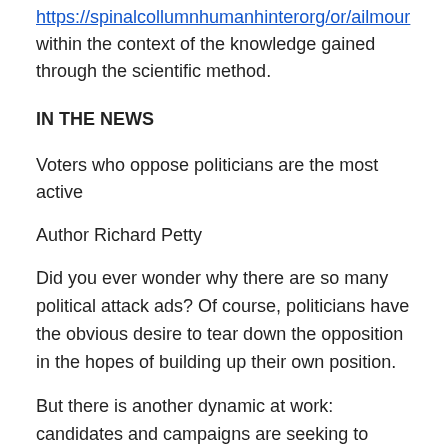https://spinalcollumnhumanhinterorg/or/ailmour within the context of the knowledge gained through the scientific method.
IN THE NEWS
Voters who oppose politicians are the most active
Author Richard Petty
Did you ever wonder why there are so many political attack ads? Of course, politicians have the obvious desire to tear down the opposition in the hopes of building up their own position.
But there is another dynamic at work: candidates and campaigns are seeking to exploit the lesser-known psychological advantage that opposing the other candidate has over supporting one's own.
…